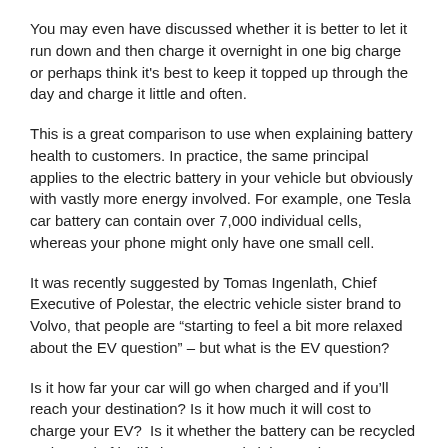You may even have discussed whether it is better to let it run down and then charge it overnight in one big charge or perhaps think it's best to keep it topped up through the day and charge it little and often.
This is a great comparison to use when explaining battery health to customers. In practice, the same principal applies to the electric battery in your vehicle but obviously with vastly more energy involved. For example, one Tesla car battery can contain over 7,000 individual cells, whereas your phone might only have one small cell.
It was recently suggested by Tomas Ingenlath, Chief Executive of Polestar, the electric vehicle sister brand to Volvo, that people are “starting to feel a bit more relaxed about the EV question” – but what is the EV question?
Is it how far your car will go when charged and if you’ll reach your destination? Is it how much it will cost to charge your EV?  Is it whether the battery can be recycled at the end of its life in a car? Or is it how to keep your battery healthy and make sure it lasts as long as possible? We think this is the key question for EV owners.